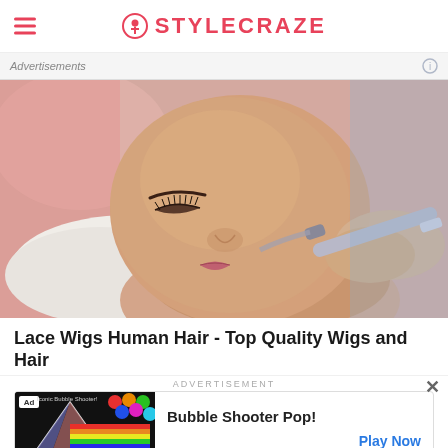STYLECRAZE
Advertisements
[Figure (photo): Woman lying down receiving a microdermabrasion or airbrush facial treatment, with a device being held to her chin by a practitioner's hand. She has closed eyes, defined eyebrows, long lashes, and is wearing a white headband.]
Lace Wigs Human Hair - Top Quality Wigs and Hair
ADVERTISEMENT
[Figure (screenshot): Advertisement banner for 'Bubble Shooter Pop!' game showing colorful bubbles and a triangle prism graphic on dark background with 'Play Now' button.]